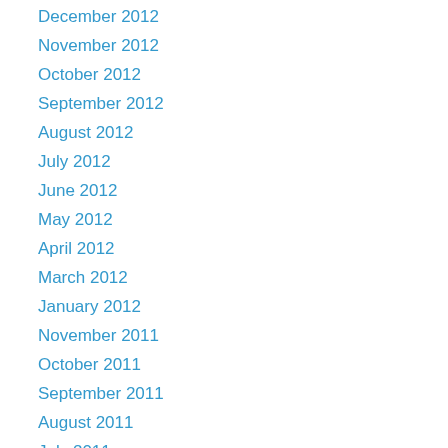December 2012
November 2012
October 2012
September 2012
August 2012
July 2012
June 2012
May 2012
April 2012
March 2012
January 2012
November 2011
October 2011
September 2011
August 2011
July 2011
June 2011
May 2011
March 2011
November 2010